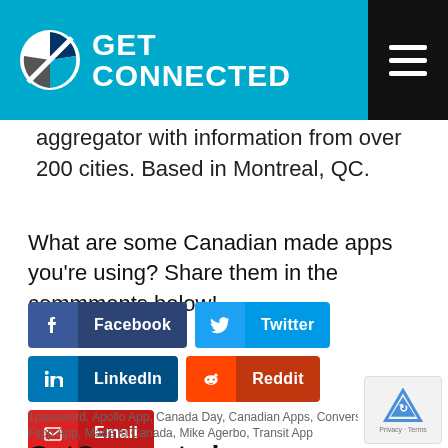GET CONNECTED
aggregator with information from over 200 cities. Based in Montreal, QC.
What are some Canadian made apps you’re using? Share them in the commments below!
[Figure (infographic): Social share buttons: Facebook, Twitter, LinkedIn, Reddit, Email]
1password, Apollo App, Canada Day, Canadian Apps, Convers…, Flipp App, Made in Canada, Mike Agerbo, Transit App
GetConnected